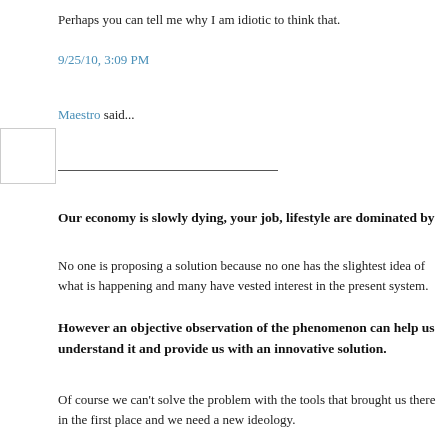Perhaps you can tell me why I am idiotic to think that.
9/25/10, 3:09 PM
Maestro said...
Our economy is slowly dying, your job, lifestyle are dominated by
No one is proposing a solution because no one has the slightest idea of what is happening and many have vested interest in the present system.
However an objective observation of the phenomenon can help us understand it and provide us with an innovative solution.
Of course we can't solve the problem with the tools that brought us there in the first place and we need a new ideology.